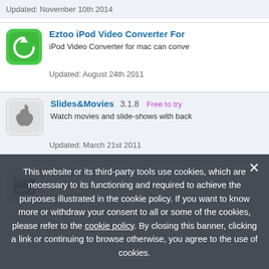Updated: November 10th 2014
Eztoo iPod Video Converter For
iPod Video Converter for mac can conve
Updated: August 24th 2011
Slides&Movies 3.1.8 Free to try
Watch movies and slide-shows with back
Updated: March 21st 2011
Joboshare MP4 Converter for Ma
Convert popular video formats AVI, MPE
Updated: September 4th 2013
This website or its third-party tools use cookies, which are necessary to its functioning and required to achieve the purposes illustrated in the cookie policy. If you want to know more or withdraw your consent to all or some of the cookies, please refer to the cookie policy. By closing this banner, clicking a link or continuing to browse otherwise, you agree to the use of cookies.